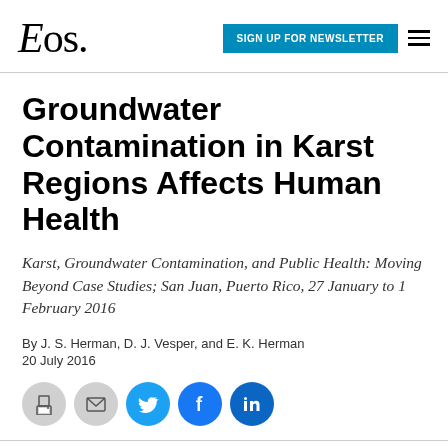Eos | SIGN UP FOR NEWSLETTER
Groundwater Contamination in Karst Regions Affects Human Health
Karst, Groundwater Contamination, and Public Health: Moving Beyond Case Studies; San Juan, Puerto Rico, 27 January to 1 February 2016
By J. S. Herman, D. J. Vesper, and E. K. Herman
20 July 2016
[Figure (other): Social sharing icons: print, email, Twitter, Facebook, LinkedIn]